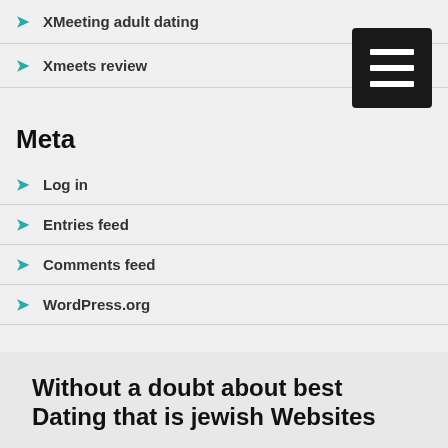XMeeting adult dating
Xmeets review
Meta
Log in
Entries feed
Comments feed
WordPress.org
Without a doubt about best Dating that is jewish Websites